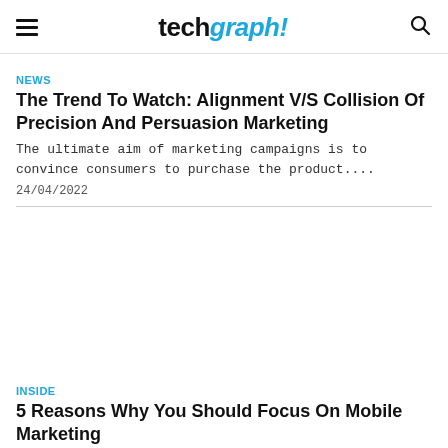techgraph!
NEWS
The Trend To Watch: Alignment V/S Collision Of Precision And Persuasion Marketing
The ultimate aim of marketing campaigns is to convince consumers to purchase the product....
24/04/2022
[Figure (photo): Article image placeholder (white space)]
INSIDE
5 Reasons Why You Should Focus On Mobile Marketing
In this era of digital marketing, mobile marketing has become the new normal. We...